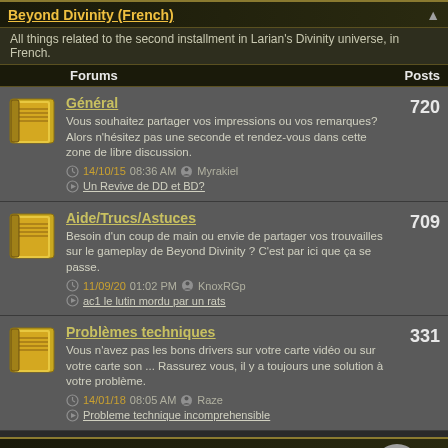Beyond Divinity (French)
All things related to the second installment in Larian's Divinity universe, in French.
| Forums | Posts |
| --- | --- |
| Général | 720 |
| Aide/Trucs/Astuces | 709 |
| Problèmes techniques | 331 |
Divine Divinity (English)
All things related to the first installment in Larian's Divinity universe.
| Forums | Posts |
| --- | --- |
| General | 30,390 |